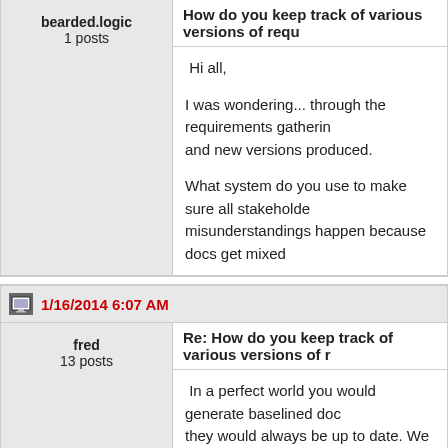bearded.logic
1 posts
How do you keep track of various versions of requ...
Hi all,

I was wondering... through the requirements gathering... and new versions produced.

What system do you use to make sure all stakeholders... misunderstandings happen because docs get mixed...
1/16/2014 6:07 AM
fred
13 posts
Re: How do you keep track of various versions of r...
In a perfect world you would generate baselined doc... they would always be up to date. We don't live in that... track of changes but at no time should a document be... the baselined version so it is clear what version of the...